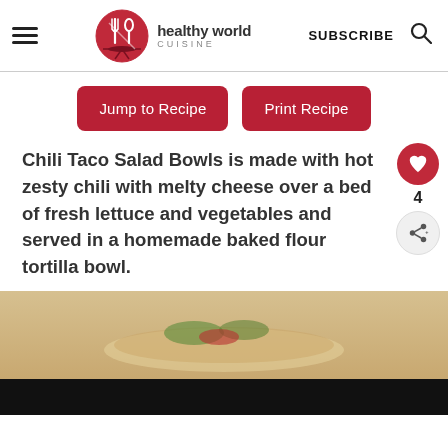healthy world CUISINE
Jump to Recipe
Print Recipe
Chili Taco Salad Bowls is made with hot zesty chili with melty cheese over a bed of fresh lettuce and vegetables and served in a homemade baked flour tortilla bowl.
[Figure (photo): Partial view of a taco salad bowl dish on a warm beige background]